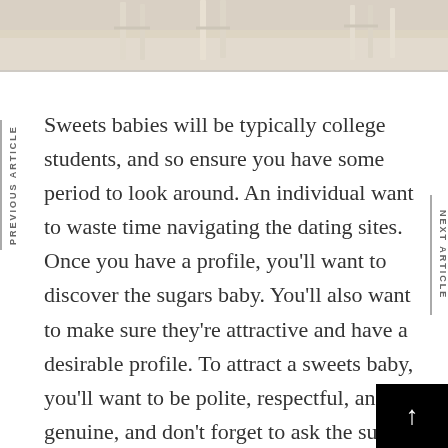[Figure (photo): Partial beach photo showing sand and what appears to be beach chairs or furniture legs at the top of the page]
PREVIOUS ARTICLE
NEXT ARTICLE
Sweets babies will be typically college students, and so ensure you have some period to look around. An individual want to waste time navigating the dating sites. Once you have a profile, you'll want to discover the sugars baby. You'll also want to make sure they're attractive and have a desirable profile. To attract a sweets baby, you'll want to be polite, respectful, and genuine, and don't forget to ask the sugar baby out on start a date.